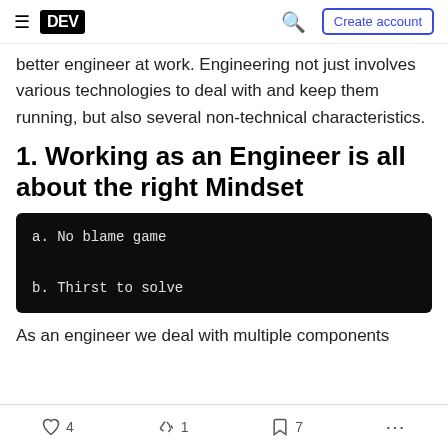DEV | Create account
better engineer at work. Engineering not just involves various technologies to deal with and keep them running, but also several non-technical characteristics.
1. Working as an Engineer is all about the right Mindset
a. No blame game
b. Thirst to solve
As an engineer we deal with multiple components
4  1  7  ...